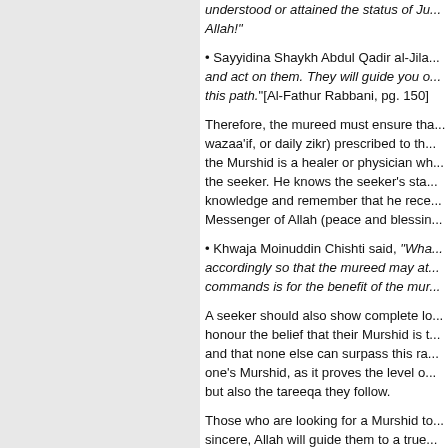understood or attained the status of Ju... Allah!"
• Sayyidina Shaykh Abdul Qadir al-Jila... and act on them. They will guide you o... this path."[Al-Fathur Rabbani, pg. 150]
Therefore, the mureed must ensure tha... wazaa'if, or daily zikr) prescribed to th... the Murshid is a healer or physician wh... the seeker. He knows the seeker's sta... knowledge and remember that he rece... Messenger of Allah (peace and blessin...
• Khwaja Moinuddin Chishti said, "Wha... accordingly so that the mureed may at... commands is for the benefit of the mur...
A seeker should also show complete lo... honour the belief that their Murshid is t... and that none else can surpass this ra... one's Murshid, as it proves the level o... but also the tareeqa they follow.
Those who are looking for a Murshid to... sincere, Allah will guide them to a true... state. InshaAllah, they will be successf... help through patience and prayer..."
The Status of Fana fi-Shaykh
The status of fana fi-Shaykh (annihilat...